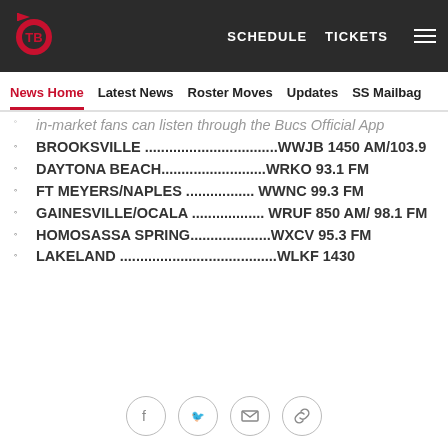Tampa Bay Buccaneers - SCHEDULE  TICKETS
News Home  Latest News  Roster Moves  Updates  SS Mailbag
in-market fans can listen through the Bucs Official App
BROOKSVILLE .................................WWJB 1450 AM/103.9
DAYTONA BEACH..........................WRKO  93.1 FM
FT MEYERS/NAPLES ................. WWNC 99.3 FM
GAINESVILLE/OCALA .................. WRUF  850 AM/ 98.1 FM
HOMOSASSA SPRING....................WXCV 95.3 FM
LAKELAND .......................................WLKF 1430